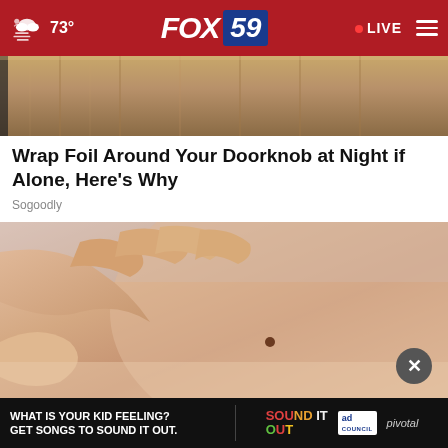73° FOX 59 • LIVE
[Figure (screenshot): Top portion of a door or elevator panel with golden/bronze metallic surface]
Wrap Foil Around Your Doorknob at Night if Alone, Here's Why
Sogoodly
[Figure (photo): Close-up photo of hands touching skin with a mole visible]
[Figure (infographic): Ad banner: WHAT IS YOUR KID FEELING? GET SONGS TO SOUND IT OUT. Sound It Out. Ad Council. Pivotal.]